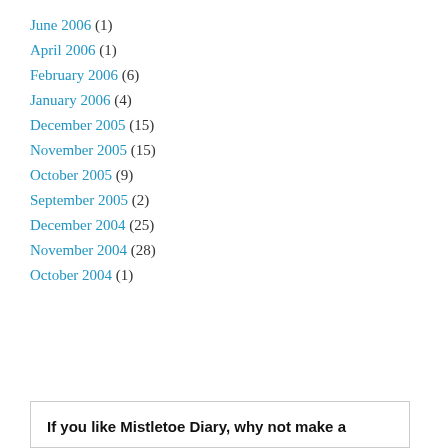June 2006 (1)
April 2006 (1)
February 2006 (6)
January 2006 (4)
December 2005 (15)
November 2005 (15)
October 2005 (9)
September 2005 (2)
December 2004 (25)
November 2004 (28)
October 2004 (1)
If you like Mistletoe Diary, why not make a